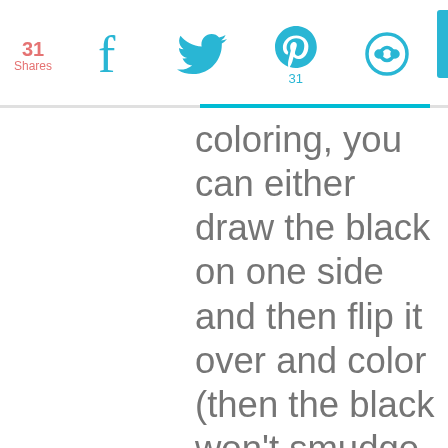31 Shares | social share icons: Facebook, Twitter, Pinterest (31), circular icon
coloring, you can either draw the black on one side and then flip it over and color (then the black won't smudge into the other colors), or you can buy the "frosted" shrinky dink paper, draw the black on one side and flip over and color with colored pencils on the other. I can't wait to do this!